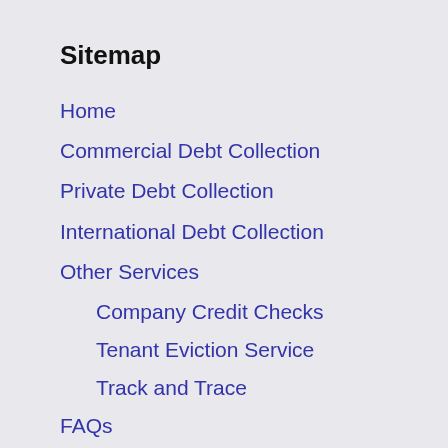Sitemap
Home
Commercial Debt Collection
Private Debt Collection
International Debt Collection
Other Services
Company Credit Checks
Tenant Eviction Service
Track and Trace
FAQs
News
Contact Us